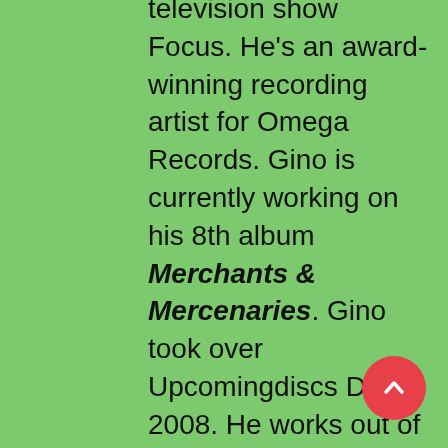television show Focus. He's an award-winning recording artist for Omega Records. Gino is currently working on his 8th album Merchants & Mercenaries. Gino took over Upcomingdiscs Dec 1, 2008. He works out of a home theater he calls The Reel World. Favorite films: The Godfather, The Godfather Part II, The Body Snatcher (Val Lewton film with Karloff